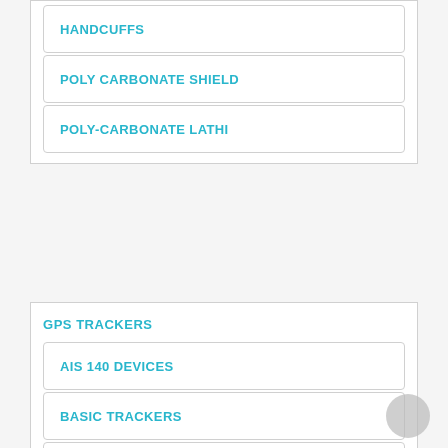HANDCUFFS
POLY CARBONATE SHIELD
POLY-CARBONATE LATHI
GPS TRACKERS
AIS 140 DEVICES
BASIC TRACKERS
FUEL ENABLED DEVICES
PERSONAL TRACKERS
ACCESS CONTROL SYSTEM
BIO MATRIC ACCESS CONTROL